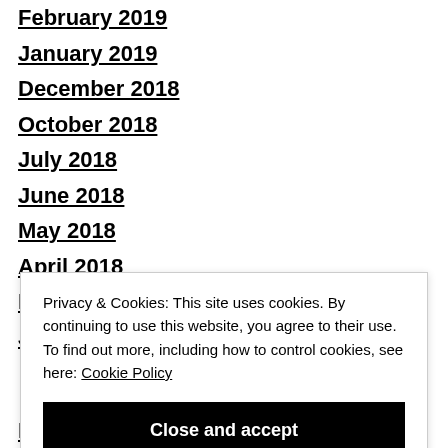February 2019
January 2019
December 2018
October 2018
July 2018
June 2018
May 2018
April 2018
February 2018
January 2018
Privacy & Cookies: This site uses cookies. By continuing to use this website, you agree to their use. To find out more, including how to control cookies, see here: Cookie Policy
March 2014